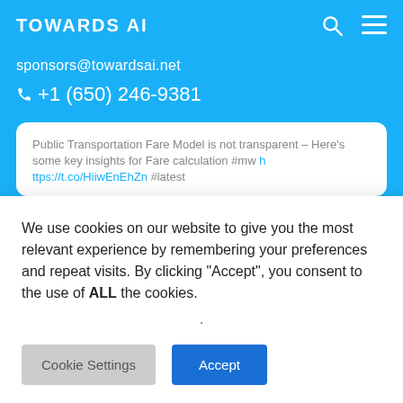TOWARDS AI
sponsors@towardsai.net
+1 (650) 246-9381
Public Transportation Fare Model is not transparent – Here's some key insights for Fare calculation #mw https://t.co/HiiwEnEhZn #latest
We use cookies on our website to give you the most relevant experience by remembering your preferences and repeat visits. By clicking “Accept”, you consent to the use of ALL the cookies.